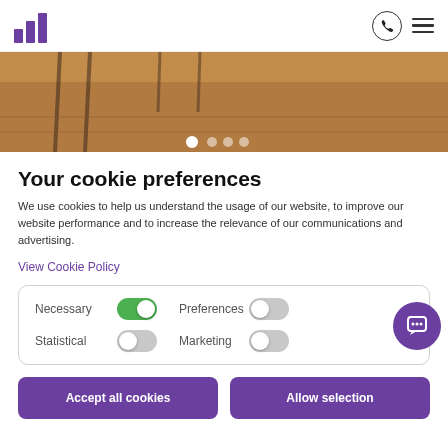[Figure (logo): Purple bar chart logo icon with three ascending bars]
[Figure (photo): Wood floor interior photo with carousel navigation dots]
Your cookie preferences
We use cookies to help us understand the usage of our website, to improve our website performance and to increase the relevance of our communications and advertising.
View Cookie Policy
| Type | Toggle | Type | Toggle |
| --- | --- | --- | --- |
| Necessary | ON | Preferences | OFF |
| Statistical | OFF | Marketing | OFF |
Accept all cookies
Allow selection